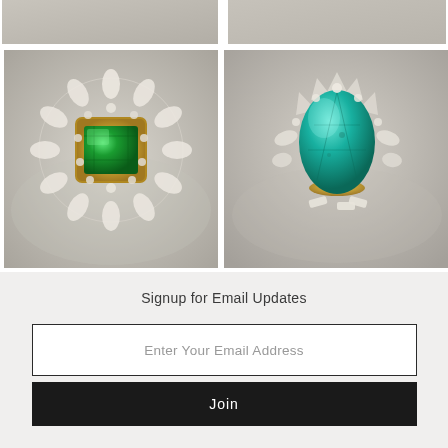[Figure (photo): Two jewelry ring photos partially visible at top, cropped]
[Figure (photo): Emerald cut green gemstone ring surrounded by diamond halo in gold setting, displayed on silver decorative tray]
[Figure (photo): Pear/teardrop shaped teal/turquoise gemstone ring with diamond halo in gold setting, displayed on silver decorative tray]
Signup for Email Updates
Enter Your Email Address
Join